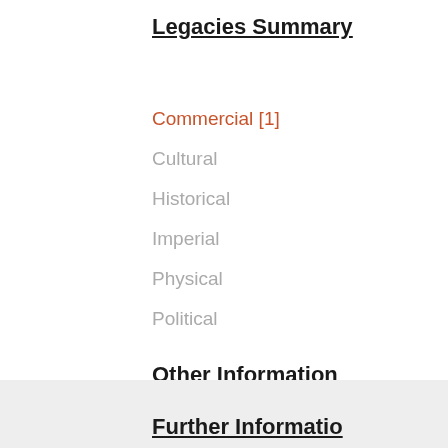Legacies Summary
Commercial [1]
Cultural
Historical
Imperial
Physical
Political
Other Information
Relationships [2]
Addresses [1]
Inventories
Further Information